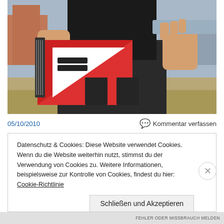[Figure (photo): A person in a black t-shirt and dark cargo pants holding a red-and-white triangular guitar shaped like a warning/yield road sign in one hand and a metal bar in the other, standing outdoors on sandy/gravelly ground with urban buildings in the background.]
05/10/2010
Kommentar verfassen
Datenschutz & Cookies: Diese Website verwendet Cookies. Wenn du die Website weiterhin nutzt, stimmst du der Verwendung von Cookies zu. Weitere Informationen, beispielsweise zur Kontrolle von Cookies, findest du hier: Cookie-Richtlinie
Schließen und Akzeptieren